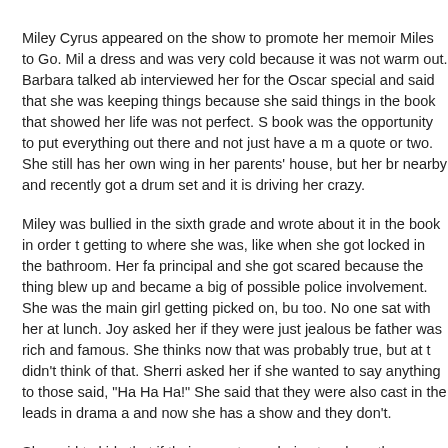Miley Cyrus appeared on the show to promote her memoir Miles to Go. Mil a dress and was very cold because it was not warm out. Barbara talked ab interviewed her for the Oscar special and said that she was keeping things because she said things in the book that showed her life was not perfect. S book was the opportunity to put everything out there and not just have a m a quote or two. She still has her own wing in her parents' house, but her br nearby and recently got a drum set and it is driving her crazy.
Miley was bullied in the sixth grade and wrote about it in the book in order t getting to where she was, like when she got locked in the bathroom. Her fa principal and she got scared because the thing blew up and became a big of possible police involvement. She was the main girl getting picked on, bu too. No one sat with her at lunch. Joy asked her if they were just jealous be father was rich and famous. She thinks now that was probably true, but at t didn't think of that. Sherri asked her if she wanted to say anything to those said, "Ha Ha Ha!" She said that they were also cast in the leads in drama a and now she has a show and they don't.
She said to kids that if their parents are being tough on them, don't take it o kids. She said to young girls that the internet is scary and it is not your frien
Before the break, Barbara said when they came back she was going to ask "love of her life" which she wrote about in her book, noting that she just inte recently.